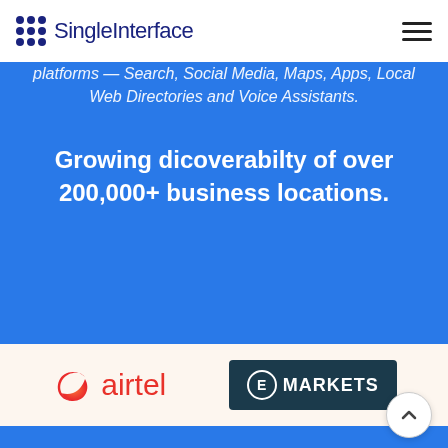SingleInterface
platforms — Search, Social Media, Maps, Apps, Local Web Directories and Voice Assistants.
Growing dicoverabilty of over 200,000+ business locations.
[Figure (logo): Airtel logo with red swoosh icon and red text 'airtel']
[Figure (logo): eMarkets logo: dark teal box with circle-E icon and white text 'MARKETS']